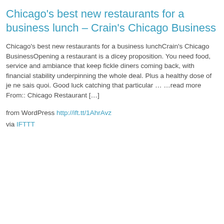Chicago's best new restaurants for a business lunch – Crain's Chicago Business
Chicago's best new restaurants for a business lunchCrain's Chicago BusinessOpening a restaurant is a dicey proposition. You need food, service and ambiance that keep fickle diners coming back, with financial stability underpinning the whole deal. Plus a healthy dose of je ne sais quoi. Good luck catching that particular … …read more From:: Chicago Restaurant […]
from WordPress http://ift.tt/1AhrAvz
via IFTTT